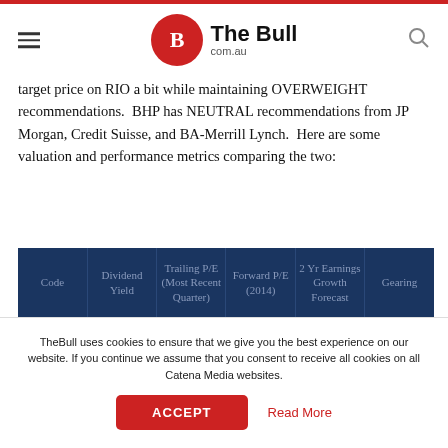The Bull com.au
target price on RIO a bit while maintaining OVERWEIGHT recommendations.  BHP has NEUTRAL recommendations from JP Morgan, Credit Suisse, and BA-Merrill Lynch.  Here are some valuation and performance metrics comparing the two:
| Code | Dividend Yield | Trailing P/E (Most Recent Quarter) | Forward P/E (2014) | 2 Yr Earnings Growth Forecast | Gearing |
| --- | --- | --- | --- | --- | --- |
TheBull uses cookies to ensure that we give you the best experience on our website. If you continue we assume that you consent to receive all cookies on all Catena Media websites.